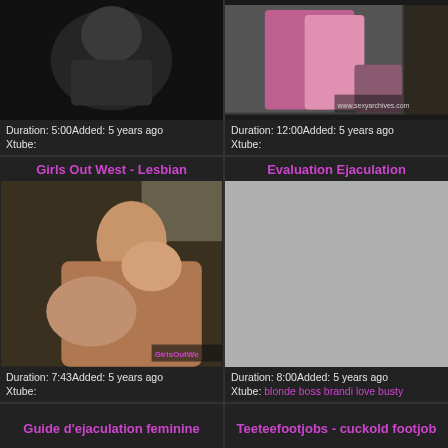[Figure (photo): Video thumbnail - dark/blurred image]
Duration: 5:00Added: 5 years ago
Xtube:
[Figure (photo): Video thumbnail - two women in pink outfits, sexyarchives.com watermark]
Duration: 12:00Added: 5 years ago
Xtube:
Girls Out West - Lesbian
[Figure (photo): Video thumbnail - GirlsOutWest watermark visible]
Duration: 7:43Added: 5 years ago
Xtube:
Evaluation Ejaculation
[Figure (photo): Video thumbnail placeholder - gray rectangle]
Duration: 8:00Added: 5 years ago
Xtube: blonde boss brandi love busty
Guide d'ejaculation feminine
Teeteefootjobs - cuckold footjob